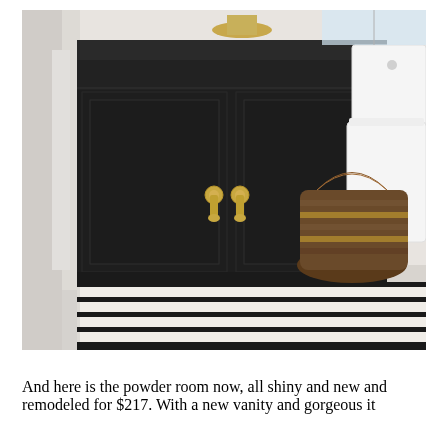[Figure (photo): A bathroom vanity cabinet painted matte black with two doors featuring gold/brass pulls. A black and white striped rug is on the floor in front. A woven basket with leather handle sits to the right beside a white toilet. White walls and a window with natural light in the background.]
And here is the powder room now, all shiny and new and remodeled for $217. With a new vanity and gorgeous it